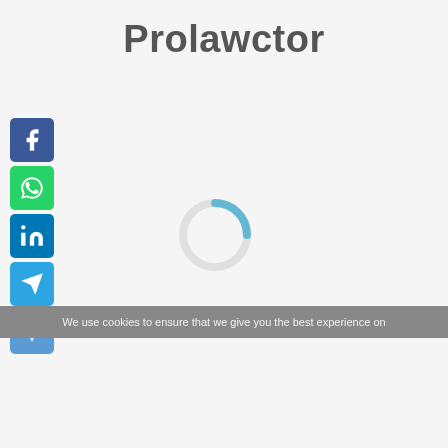Prolawctor
[Figure (infographic): Social media sharing buttons: Facebook (blue), WhatsApp (green), LinkedIn (blue), Telegram (light blue), and a More/Share button (blue with plus sign), arranged vertically on the left side]
[Figure (other): Loading spinner — a circular ring in light gray with a blue arc segment at the bottom, indicating content is loading]
We use cookies to ensure that we give you the best experience on